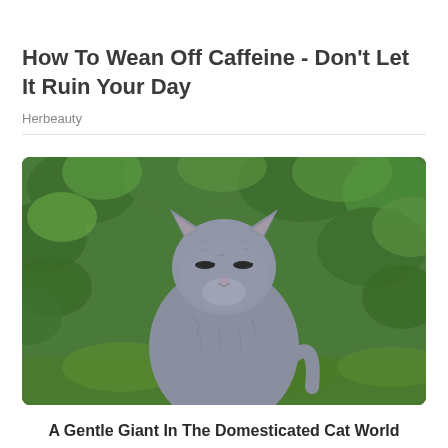How To Wean Off Caffeine - Don't Let It Ruin Your Day
Herbeauty
[Figure (photo): A grey British Shorthair cat sitting upright outdoors with eyes nearly closed, appearing content, surrounded by green foliage in the background.]
A Gentle Giant In The Domesticated Cat World